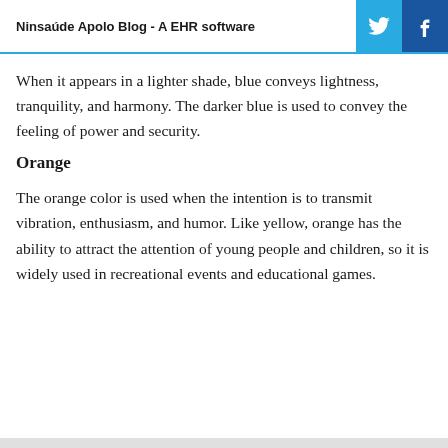Ninsaúde Apolo Blog - A EHR software
When it appears in a lighter shade, blue conveys lightness, tranquility, and harmony. The darker blue is used to convey the feeling of power and security.
Orange
The orange color is used when the intention is to transmit vibration, enthusiasm, and humor. Like yellow, orange has the ability to attract the attention of young people and children, so it is widely used in recreational events and educational games.